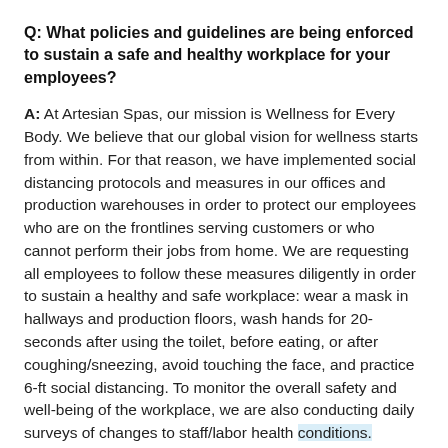Q: What policies and guidelines are being enforced to sustain a safe and healthy workplace for your employees?
A: At Artesian Spas, our mission is Wellness for Every Body. We believe that our global vision for wellness starts from within. For that reason, we have implemented social distancing protocols and measures in our offices and production warehouses in order to protect our employees who are on the frontlines serving customers or who cannot perform their jobs from home. We are requesting all employees to follow these measures diligently in order to sustain a healthy and safe workplace: wear a mask in hallways and production floors, wash hands for 20-seconds after using the toilet, before eating, or after coughing/sneezing, avoid touching the face, and practice 6-ft social distancing. To monitor the overall safety and well-being of the workplace, we are also conducting daily surveys of changes to staff/labor health conditions.